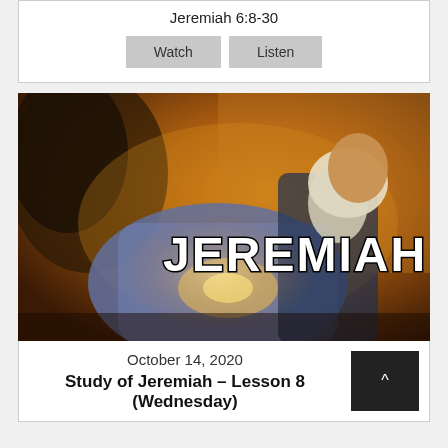Jeremiah 6:8-30
[Figure (illustration): Painting of a bearded elderly man (Jeremiah) seated in robes, holding a glowing object, with text 'JEREMIAH' overlaid in large white letters with black outline]
October 14, 2020
Study of Jeremiah – Lesson 8 (Wednesday)